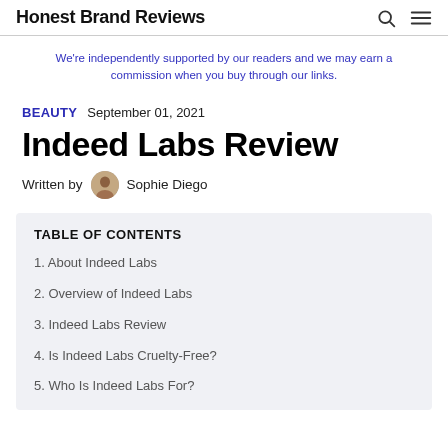Honest Brand Reviews
We're independently supported by our readers and we may earn a commission when you buy through our links.
BEAUTY  September 01, 2021
Indeed Labs Review
Written by  Sophie Diego
TABLE OF CONTENTS
1. About Indeed Labs
2. Overview of Indeed Labs
3. Indeed Labs Review
4. Is Indeed Labs Cruelty-Free?
5. Who Is Indeed Labs For?